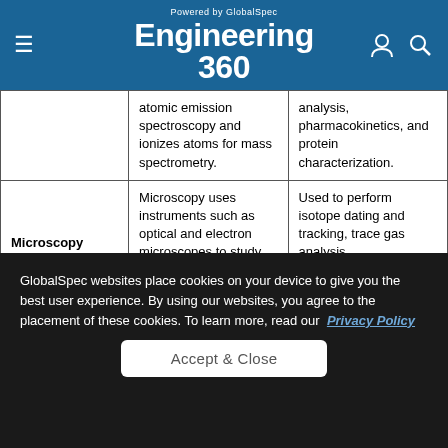Powered by GlobalSpec Engineering 360
|  | Description | Applications |
| --- | --- | --- |
|  | atomic emission spectroscopy and ionizes atoms for mass spectrometry. | analysis, pharmacokinetics, and protein characterization. |
| Microscopy | Microscopy uses instruments such as optical and electron microscopes to study the structure and composition of | Used to perform isotope dating and tracking, trace gas analysis, pharmacokinetics, and protein |
GlobalSpec websites place cookies on your device to give you the best user experience. By using our websites, you agree to the placement of these cookies. To learn more, read our Privacy Policy
Accept & Close